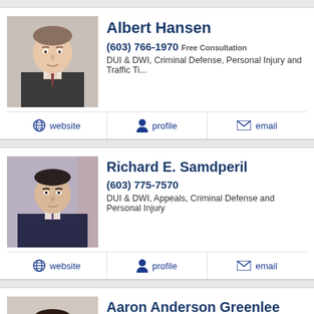[Figure (photo): Headshot of Albert Hansen, attorney in suit]
Albert Hansen
(603) 766-1970 Free Consultation
DUI & DWI, Criminal Defense, Personal Injury and Traffic Ti...
website | profile | email
[Figure (photo): Photo of Richard E. Samdperil, attorney]
Richard E. Samdperil
(603) 775-7570
DUI & DWI, Appeals, Criminal Defense and Personal Injury
website | profile | email
[Figure (photo): Photo of Aaron Anderson Greenlee, attorney]
Aaron Anderson Greenlee
(603) 288-0800 Free Consultation
DUI & DWI, Divorce, Family and Personal Injury